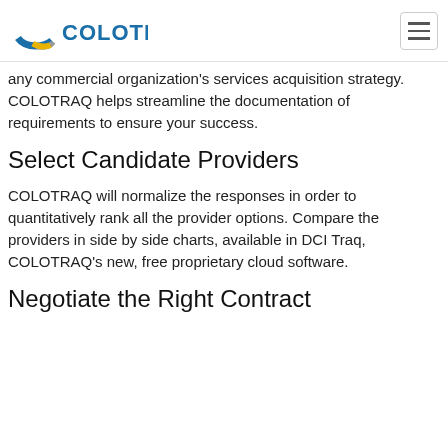COLOTRAQ
any commercial organization's services acquisition strategy. COLOTRAQ helps streamline the documentation of requirements to ensure your success.
Select Candidate Providers
COLOTRAQ will normalize the responses in order to quantitatively rank all the provider options. Compare the providers in side by side charts, available in DCI Traq, COLOTRAQ's new, free proprietary cloud software.
Negotiate the Right Contract